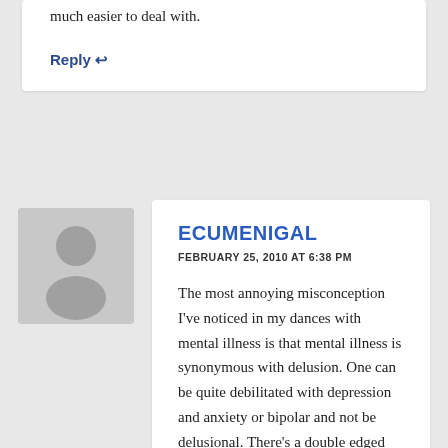much easier to deal with.
Reply ↩
ECUMENIGAL
FEBRUARY 25, 2010 AT 6:38 PM
The most annoying misconception I've noticed in my dances with mental illness is that mental illness is synonymous with delusion. One can be quite debilitated with depression and anxiety or bipolar and not be delusional. There's a double edged sword here, because people who think "mentally ill" means delusional are afraid of the mentally ill. On the other side, while doctors are more than happy to prescribe medications, it's very hard to get disability status on the basis of depression because doctors confuse intelligence and self-awareness